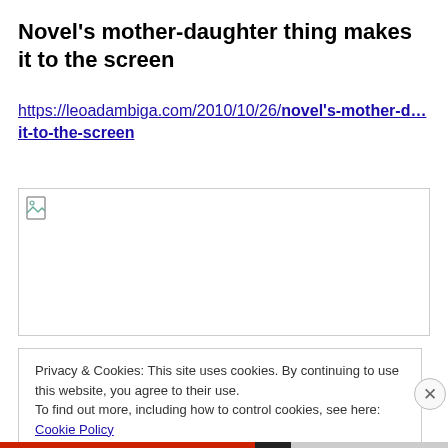Novel's mother-daughter thing makes it to the screen
https://leoadambiga.com/2010/10/26/novel's-mother-d…it-to-the-screen
[Figure (photo): Broken image placeholder with a small document icon in the top-left corner, inside a bordered rectangle.]
Privacy & Cookies: This site uses cookies. By continuing to use this website, you agree to their use.
To find out more, including how to control cookies, see here: Cookie Policy